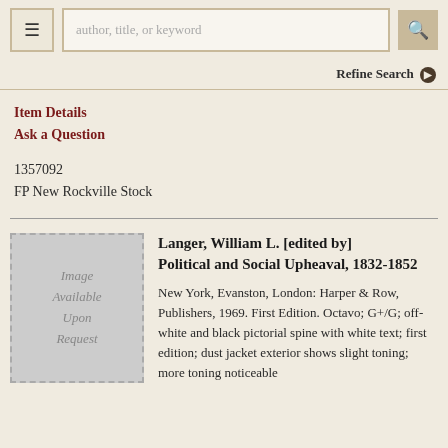author, title, or keyword
Refine Search
Item Details
Ask a Question
1357092
FP New Rockville Stock
Langer, William L. [edited by] Political and Social Upheaval, 1832-1852
New York, Evanston, London: Harper & Row, Publishers, 1969. First Edition. Octavo; G+/G; off-white and black pictorial spine with white text; first edition; dust jacket exterior shows slight toning; more toning noticeable